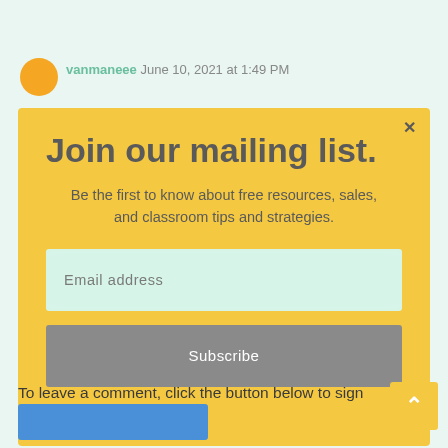vanmaneee June 10, 2021 at 1:49 PM
Join our mailing list.
Be the first to know about free resources, sales, and classroom tips and strategies.
Email address
Subscribe
To leave a comment, click the button below to sign Google.